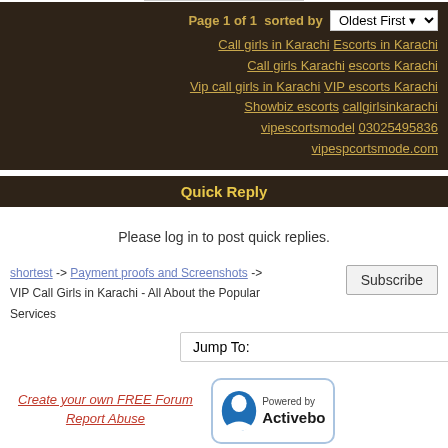Page 1 of 1  sorted by  Oldest First
Call girls in Karachi  Escorts in Karachi  Call girls Karachi escorts Karachi  Vip call girls in Karachi  VIP escorts Karachi  Showbiz escorts  callgirlsinkarachi  vipescortsmodel  03025495836  vipespcortsmode.com
Quick Reply
Please log in to post quick replies.
shortest -> Payment proofs and Screenshots -> VIP Call Girls in Karachi - All About the Popular Services
Subscribe
Jump To:
Create your own FREE Forum  Report Abuse
[Figure (logo): Powered by Activebo logo with blue circular icon]